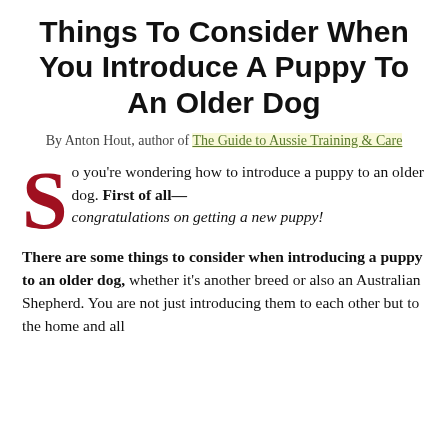Things To Consider When You Introduce A Puppy To An Older Dog
By Anton Hout, author of The Guide to Aussie Training & Care
So you're wondering how to introduce a puppy to an older dog. First of all—congratulations on getting a new puppy!
There are some things to consider when introducing a puppy to an older dog, whether it's another breed or also an Australian Shepherd. You are not just introducing them to each other but to the home and all